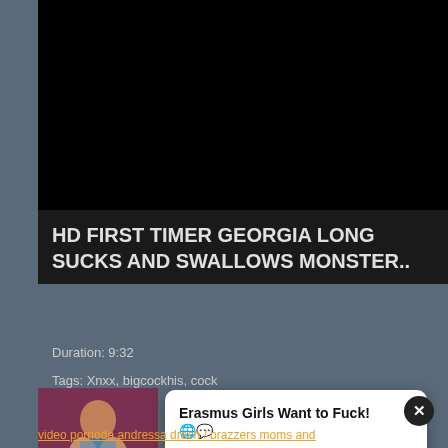[Figure (other): Black video player area]
HD FIRST TIMER GEORGIA LONG SUCKS AND SWALLOWS MONSTER..
Duration: 9:32
Tags: Xnxx, bigcockhis, cock
[Figure (photo): Thumbnail image of a woman]
Erasmus Girls Want to Fuck! 🌐💬
Send a Message and Fuck for FREE💬💬
video pornoda andressa drach / brazzers moms and